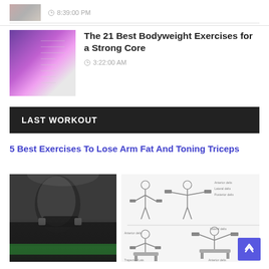[Figure (photo): Thumbnail image of article at top]
8:39:00 PM
[Figure (illustration): Thumbnail showing anatomy and bodyweight exercise diagrams with purple glow]
The 21 Best Bodyweight Exercises for a Strong Core
3:22:00 AM
LAST WORKOUT
5 Best Exercises To Lose Arm Fat And Toning Triceps
[Figure (photo): Muscular man lifting large dumbbell in dark gym setting with green floor accent]
[Figure (illustration): Exercise illustrations showing dumbbell lateral raises and tricep exercises with labeled muscles]